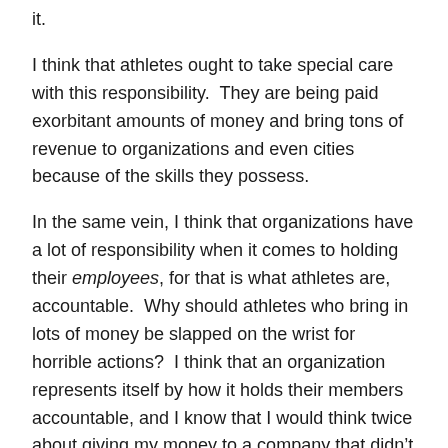it.
I think that athletes ought to take special care with this responsibility.  They are being paid exorbitant amounts of money and bring tons of revenue to organizations and even cities because of the skills they possess.
In the same vein, I think that organizations have a lot of responsibility when it comes to holding their employees, for that is what athletes are, accountable.  Why should athletes who bring in lots of money be slapped on the wrist for horrible actions?  I think that an organization represents itself by how it holds their members accountable, and I know that I would think twice about giving my money to a company that didn’t push high standards.
4.  What season of the year is toughest for you in